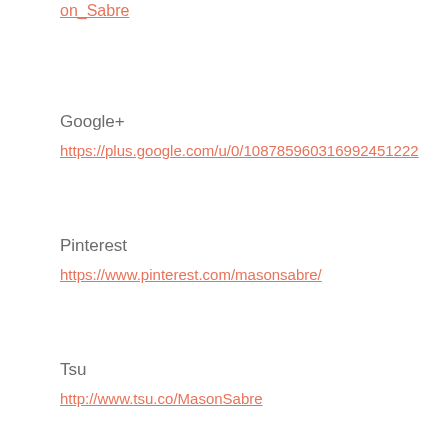on_Sabre
Google+
https://plus.google.com/u/0/108785960316992451222
Pinterest
https://www.pinterest.com/masonsabre/
Tsu
http://www.tsu.co/MasonSabre